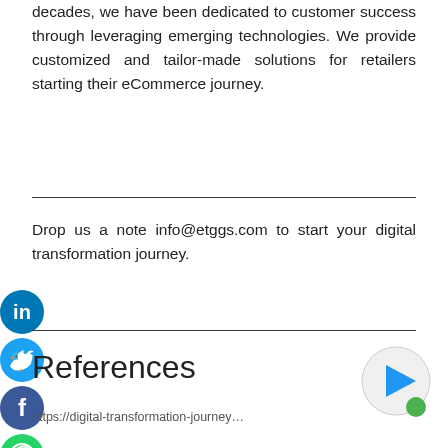decades, we have been dedicated to customer success through leveraging emerging technologies. We provide customized and tailor-made solutions for retailers starting their eCommerce journey.
Drop us a note info@etggs.com to start your digital transformation journey.
References